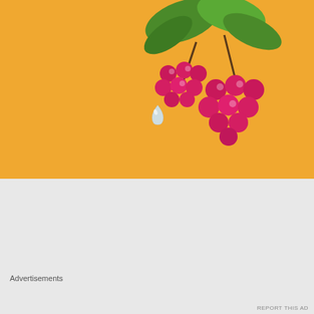[Figure (photo): Raspberries on a branch with green leaves against an orange/yellow background, with a water droplet visible]
Advertisements
[Figure (infographic): WordPress.com advertisement showing two overlapping circles (Venn diagram style) on a dark blue-green background. Left circle (teal): 'Everything you need', Right circle (blue): 'Anything you want'. Bottom has a pink button 'Build Your Website' and WordPress.com logo.]
[Figure (illustration): Close button (X in circle)]
Advertisements